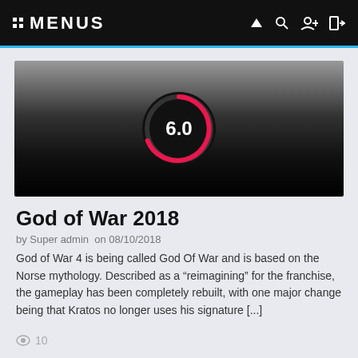MENUS
[Figure (screenshot): Hero banner image with dark gradient background (grey to black) and a score circle showing 6.0 in white text on a black circle with a red arc indicator]
God of War 2018
by Super admin  on 08/10/2018
God of War 4 is being called God Of War and is based on the Norse mythology. Described as a "reimagining" for the franchise, the gameplay has been completely rebuilt, with one major change being that Kratos no longer uses his signature [...]
10